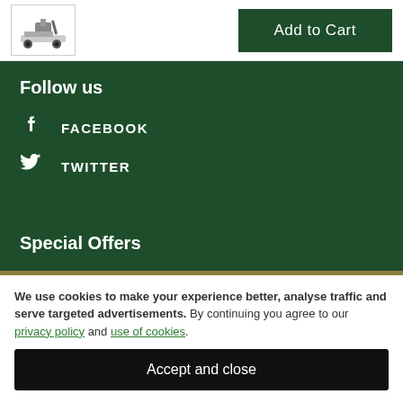[Figure (illustration): Small pixelated image of a lawn mower inside a white bordered box]
Add to Cart
Follow us
FACEBOOK
TWITTER
Special Offers
We use cookies to make your experience better, analyse traffic and serve targeted advertisements. By continuing you agree to our privacy policy and use of cookies.
Accept and close